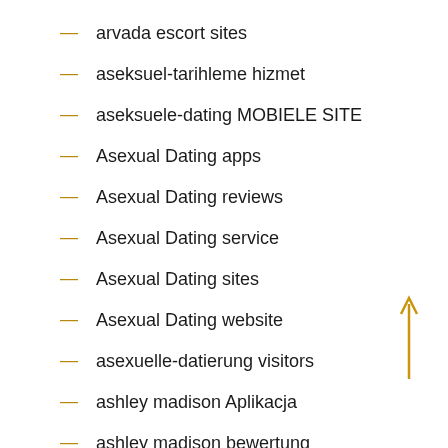arvada escort sites
aseksuel-tarihleme hizmet
aseksuele-dating MOBIELE SITE
Asexual Dating apps
Asexual Dating reviews
Asexual Dating service
Asexual Dating sites
Asexual Dating website
asexuelle-datierung visitors
ashley madison Aplikacja
ashley madison bewertung